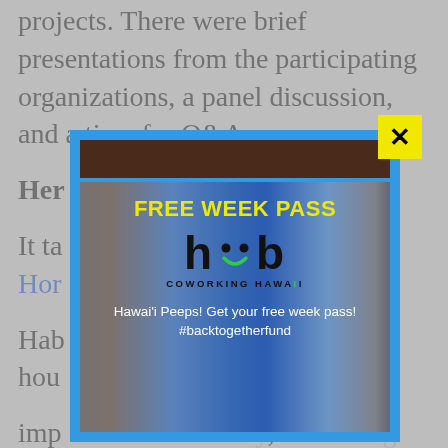projects. There were brief presentations from the participating organizations, a panel discussion, and a time for Q&A. Here are the [presentations]. It takes... Horizons. Habitat... housing... improving community, increasing homeownership opportunities. They work with families and communities to
[Figure (other): Yellow close button with X in top right corner of modal]
[Figure (infographic): Modal popup advertisement for Hub Coworking Hawaii Free Week Pass. Blue border, dark brown top bar, interior shows mall corridor background with blue overlay. Yellow bold text 'FREE WEEK PASS' at top, Hub Coworking Hawaii logo in center (black h.b wordmark with green smile arc and dot eyes), white text: 'Hawai'i Peeps! Get your free week pass! #backtogetherfund']